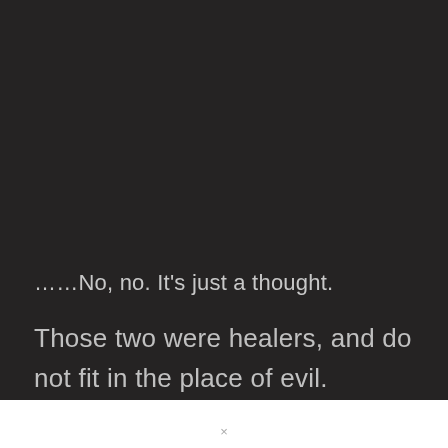......No, no. It’s just a thought.
Those two were healers, and do not fit in the place of evil.